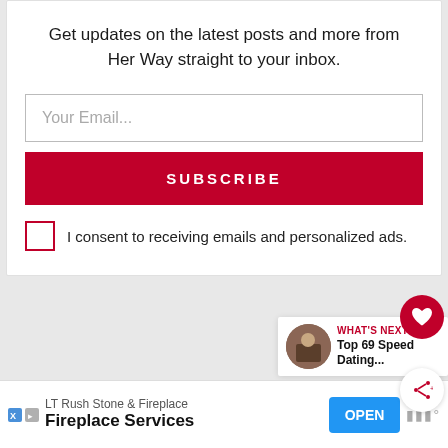Get updates on the latest posts and more from Her Way straight to your inbox.
Your Email...
SUBSCRIBE
I consent to receiving emails and personalized ads.
WHAT'S NEXT → Top 69 Speed Dating...
LT Rush Stone & Fireplace
Fireplace Services
OPEN
3